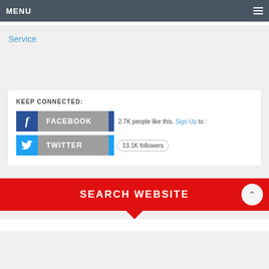MENU
Service
KEEP CONNECTED:
2.7K people like this. Sign Up to :
13.1K followers
SEARCH WEBSITE